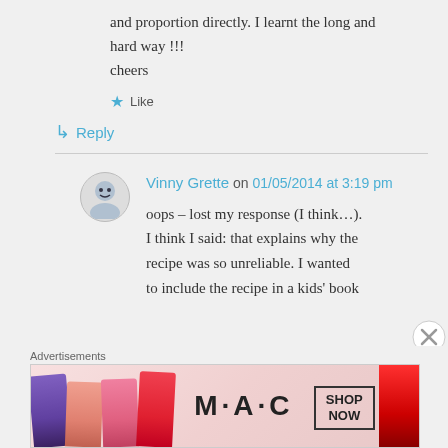and proportion directly. I learnt the long and hard way !!!
cheers
★ Like
↳ Reply
Vinny Grette on 01/05/2014 at 3:19 pm
oops – lost my response (I think…). I think I said: that explains why the recipe was so unreliable. I wanted to include the recipe in a kids' book
Advertisements
[Figure (photo): MAC Cosmetics advertisement banner showing lipsticks and MAC logo with SHOP NOW button]